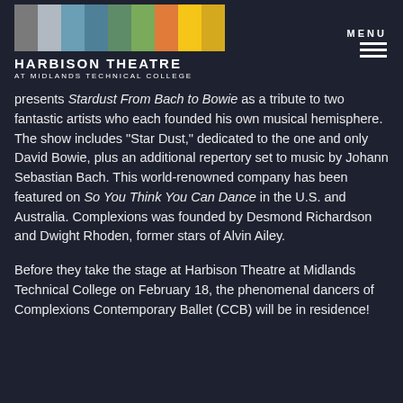[Figure (logo): Harbison Theatre at Midlands Technical College logo with colorful vertical bars and text]
MENU
presents Stardust From Bach to Bowie as a tribute to two fantastic artists who each founded his own musical hemisphere. The show includes "Star Dust," dedicated to the one and only David Bowie, plus an additional repertory set to music by Johann Sebastian Bach. This world-renowned company has been featured on So You Think You Can Dance in the U.S. and Australia. Complexions was founded by Desmond Richardson and Dwight Rhoden, former stars of Alvin Ailey.
Before they take the stage at Harbison Theatre at Midlands Technical College on February 18, the phenomenal dancers of Complexions Contemporary Ballet (CCB) will be in residence!